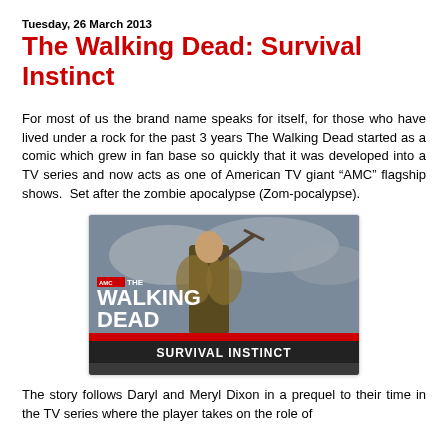Tuesday, 26 March 2013
The Walking Dead: Survival Instinct
For most of us the brand name speaks for itself, for those who have lived under a rock for the past 3 years The Walking Dead started as a comic which grew in fan base so quickly that it was developed into a TV series and now acts as one of American TV giant “AMC” flagship shows.  Set after the zombie apocalypse (Zom-pocalypse).
[Figure (photo): Game cover image for The Walking Dead: Survival Instinct, showing a character from behind with a crossbow and the game title logo with red stripe.]
The story follows Daryl and Meryl Dixon in a prequel to their time in the TV series where the player takes on the role of